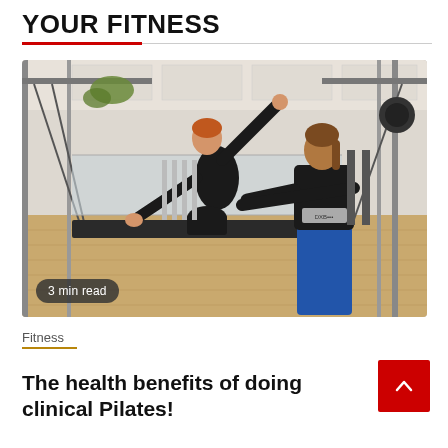YOUR FITNESS
[Figure (photo): Two women in a Pilates studio. One woman in black clothing is kneeling on a Pilates apparatus and stretching sideways with one arm raised. A trainer in a black top and blue pants is guiding her from behind. The studio has metal equipment frames, hardwood floors, and mirrors. A '3 min read' badge overlays the bottom-left of the image.]
Fitness
The health benefits of doing clinical Pilates!